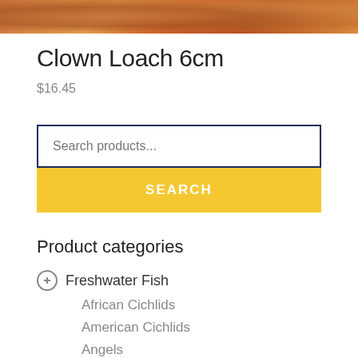[Figure (photo): Close-up photo of clown loach fish with orange and yellow coloring]
Clown Loach 6cm
$16.45
Search products...
SEARCH
Product categories
Freshwater Fish
African Cichlids
American Cichlids
Angels